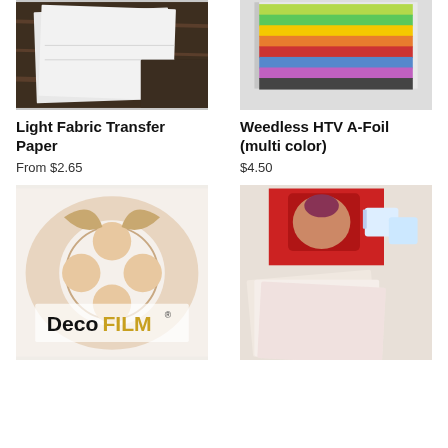[Figure (photo): White transfer paper sheets on a dark wooden surface]
Light Fabric Transfer Paper
From $2.65
[Figure (photo): Stack of colorful A-Foil heat transfer vinyl sheets in various colors]
Weedless HTV A-Foil (multi color)
$4.50
[Figure (photo): DecoFILM product banner with floral pattern and gold metallic lettering]
[Figure (photo): Sublimation transfer paper sheets with printed mugs and photo pillow in background]